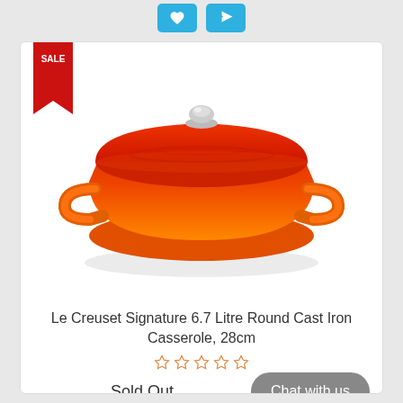[Figure (photo): Orange/red Le Creuset round cast iron casserole pot with lid and silver knob, on a white background]
Le Creuset Signature 6.7 Litre Round Cast Iron Casserole, 28cm
Sold Out
Chat with us